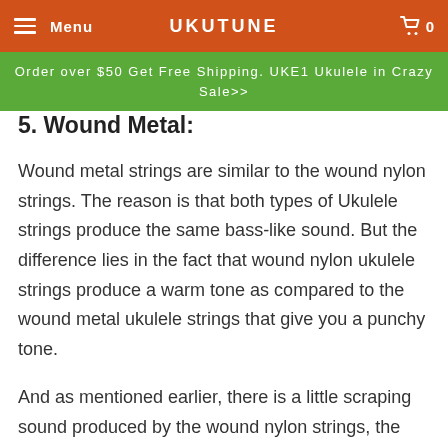Menu | UKUTUNE | 0
Order over $50 Get Free Shipping. UKE1 Ukulele in Crazy Sale>>
5. Wound Metal:
Wound metal strings are similar to the wound nylon strings. The reason is that both types of Ukulele strings produce the same bass-like sound. But the difference lies in the fact that wound nylon ukulele strings produce a warm tone as compared to the wound metal ukulele strings that give you a punchy tone.
And as mentioned earlier, there is a little scraping sound produced by the wound nylon strings, the wound metal strings also produce the same sound. If the sound doesn't bother you, you can give the Ukulele with wound